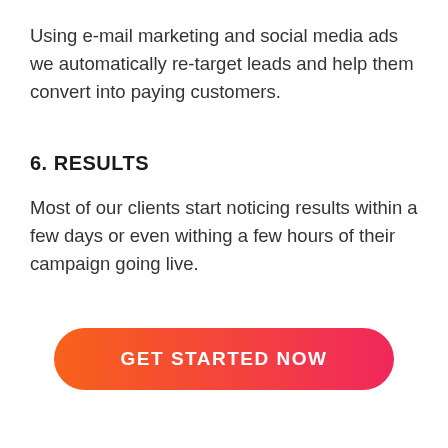Using e-mail marketing and social media ads we automatically re-target leads and help them convert into paying customers.
6. RESULTS
Most of our clients start noticing results within a few days or even withing a few hours of their campaign going live.
[Figure (other): Orange-to-pink gradient rounded button with white bold text 'GET STARTED NOW']